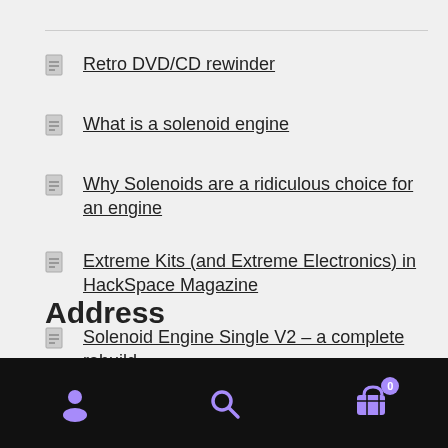Retro DVD/CD rewinder
What is a solenoid engine
Why Solenoids are a ridiculous choice for an engine
Extreme Kits (and Extreme Electronics) in HackSpace Magazine
Solenoid Engine Single V2 – a complete rebuild.
Address
Bottom navigation bar with user, search, and cart icons